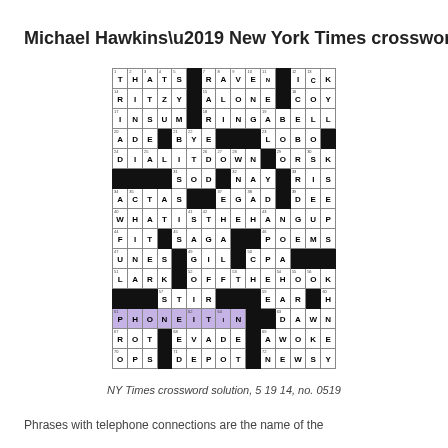Michael Hawkins’ New York Times crossword
[Figure (other): Completed crossword puzzle grid for NY Times crossword no. 0519, dated 5 19 14. Grid contains filled letters including highlighted purple cells spelling PHONEITIN. Notable answers include THATS, RAVEN, ICK, RITZY, ALONE, COY, INSUM, RINGABELL, ADE, BYE, LOBO, DIALITDOWN, ORSK, SOD, NAY, RISE, ACTAS, EGAD, DEE, WHATISTHEHANGUP, FIT, SAGA, POEMS, UNES, GIL, CPA, LARK, OFFTHEHOOK, STIR, EAR, HIE, PHONEITIN, DAWNS, ROT, EVADE, AWOKE, OPS, DEPOT, NEWSY]
NY Times crossword solution, 5 19 14, no. 0519
Phrases with telephone connections are the name of the